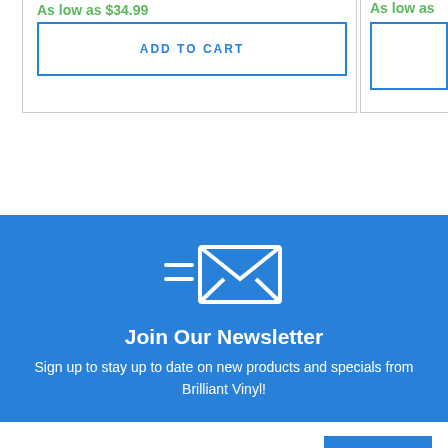As low as $34.99
ADD TO CART
As low as…
[Figure (illustration): Newsletter envelope icon with two horizontal lines to the left, white outline on blue background]
Join Our Newsletter
Sign up to stay up to date on new products and specials from Brilliant Vinyl!
Brilliant Vinyl's Cutter Creations Class
CHOOSE
SUBSCRIBE NOW!